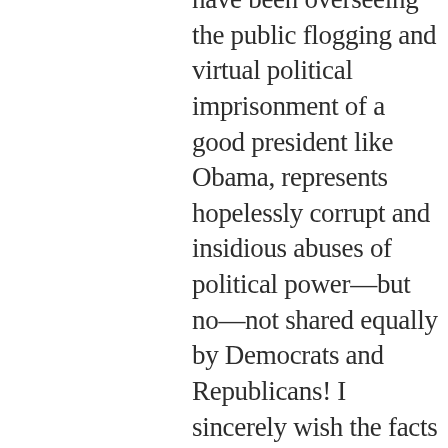have been overseeing the public flogging and virtual political imprisonment of a good president like Obama, represents hopelessly corrupt and insidious abuses of political power—but no—not shared equally by Democrats and Republicans! I sincerely wish the facts suggested otherwise—but they don't!

Another thing I'd like to